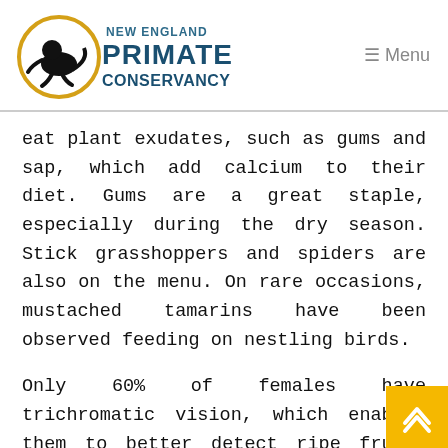New England Primate Conservancy — Menu
eat plant exudates, such as gums and sap, which add calcium to their diet. Gums are a great staple, especially during the dry season. Stick grasshoppers and spiders are also on the menu. On rare occasions, mustached tamarins have been observed feeding on nestling birds.
Only 60% of females have trichromatic vision, which enables them to better detect ripe fruit; the other females and males have dichromatic vision. All moustached tamarins have great